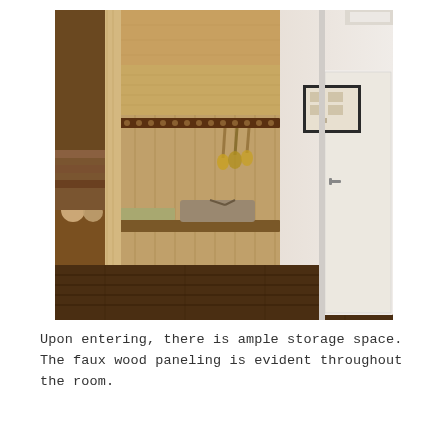[Figure (photo): Interior photo of a room entryway showing a closet/storage area with wood-paneled walls, hanging coat hooks along a horizontal rail, a bench seat with a dark storage bag on top, light green mat on the bench, dark hardwood flooring, a white door on the right with a handle, and a framed picture on the white wall. On the left side there is a shelf with stuffed animals visible.]
Upon entering, there is ample storage space. The faux wood paneling is evident throughout the room.